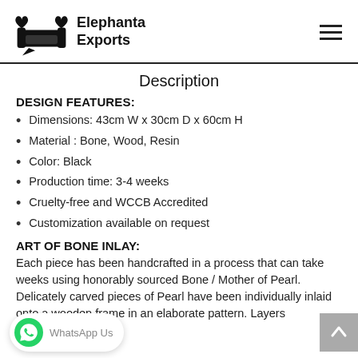Elephanta Exports
Description
DESIGN FEATURES:
Dimensions: 43cm W x 30cm D x 60cm H
Material : Bone, Wood, Resin
Color: Black
Production time: 3-4 weeks
Cruelty-free and WCCB Accredited
Customization available on request
ART OF BONE INLAY:
Each piece has been handcrafted in a process that can take weeks using honorably sourced Bone / Mother of Pearl. Delicately carved pieces of Pearl have been individually inlaid onto a wooden frame in an elaborate pattern. Layers